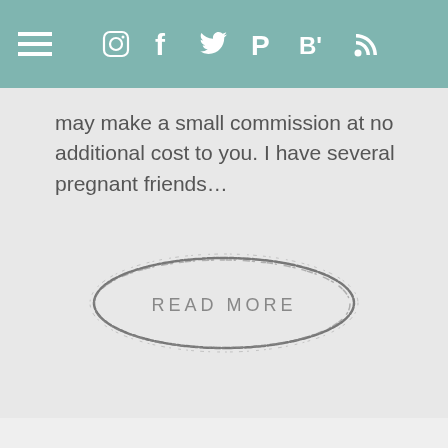[Figure (screenshot): Navigation bar with hamburger menu and social media icons (Instagram, Facebook, Twitter, Pinterest, Bloglovin, RSS) on teal background]
may make a small commission at no additional cost to you.  I have several pregnant friends…
[Figure (illustration): Hand-drawn oval/circle stamp with text READ MORE inside]
[Figure (screenshot): Second article card area with light gray background, pagination dots, heart favorite button showing count 3, close X icon and share icon, and WP logo at bottom right]